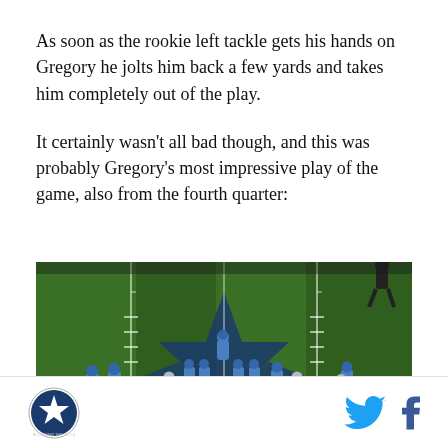As soon as the rookie left tackle gets his hands on Gregory he jolts him back a few yards and takes him completely out of the play.
It certainly wasn't all bad though, and this was probably Gregory's most impressive play of the game, also from the fourth quarter:
[Figure (photo): Aerial view of a Dallas Cowboys NFL football game, showing players lined up on the field with the Cowboys star logo visible at midfield. Players in blue (Detroit Lions) and white (Cowboys) uniforms are in formation. Player numbers 57, 44, and 50 visible.]
[Figure (logo): Dallas Cowboys circular logo with star]
[Figure (other): Twitter bird icon and Facebook 'f' icon in cyan/blue]